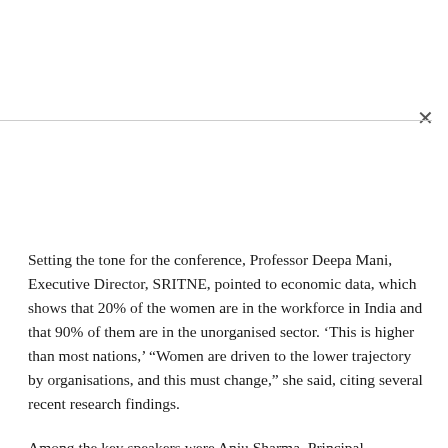Setting the tone for the conference, Professor Deepa Mani, Executive Director, SRITNE, pointed to economic data, which shows that 20% of the women are in the workforce in India and that 90% of them are in the unorganised sector. ‘This is higher than most nations,’ “Women are driven to the lower trajectory by organisations, and this must change,” she said, citing several recent research findings.
Among the key speakers were Anju Sharma, Principal Secretary, Higher and Technical Education, Government of Gujarat, and Malini Agarwal, Additional Director General of Police,